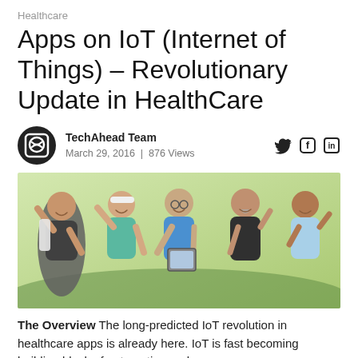Healthcare
Apps on IoT (Internet of Things) – Revolutionary Update in HealthCare
TechAhead Team
March 29, 2016  |  876 Views
[Figure (photo): Group of five older adults exercising outdoors, smiling and raising their arms; one woman in center holds a tablet device.]
The Overview The long-predicted IoT revolution in healthcare apps is already here. IoT is fast becoming building block of automation and